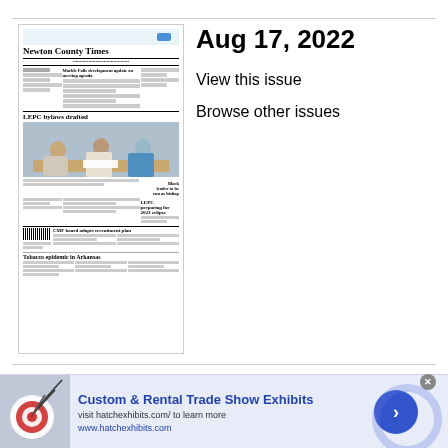[Figure (screenshot): Thumbnail image of the Newton County Times newspaper front page dated Aug 17, 2022, showing headlines including 'LEPC bylaws drafted', 'CMF board adopts recruitment plan', 'Tobacco epidemic in Arkansas', and a photo of three people seated at a table.]
Aug 17, 2022
View this issue
Browse other issues
[Figure (photo): Advertisement banner for Custom & Rental Trade Show Exhibits showing darts hitting a target, with text 'Custom & Rental Trade Show Exhibits', 'visit hatchexhibits.com/ to learn more', 'www.hatchexhibits.com', and a blue circular arrow button.]